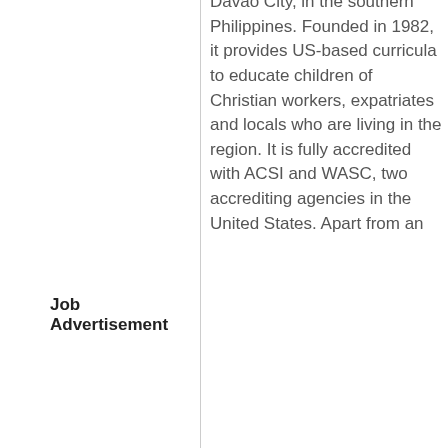Davao City, in the southern Philippines. Founded in 1982, it provides US-based curricula to educate children of Christian workers, expatriates and locals who are living in the region. It is fully accredited with ACSI and WASC, two accrediting agencies in the United States. Apart from an
Job Advertisement